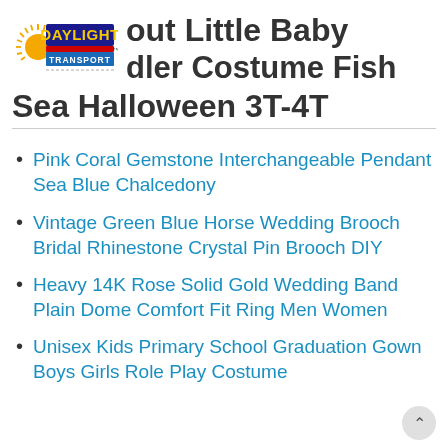[Figure (logo): Daylight Transport logo with sun graphic, blue/yellow/red text]
out Little Baby dler Costume Fish Sea Halloween 3T-4T
Pink Coral Gemstone Interchangeable Pendant Sea Blue Chalcedony
Vintage Green Blue Horse Wedding Brooch Bridal Rhinestone Crystal Pin Brooch DIY
Heavy 14K Rose Solid Gold Wedding Band Plain Dome Comfort Fit Ring Men Women
Unisex Kids Primary School Graduation Gown Boys Girls Role Play Costume